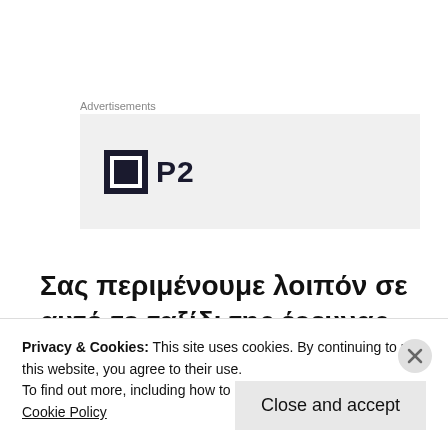Advertisements
[Figure (logo): P2 logo: a dark square icon with inner square border and cutout, next to bold text 'P2', on a light grey advertisement background]
Σας περιμένουμε λοιπόν σε αυτό το ταξίδι της έρευνας την Τετάρτη στις 18:30 στην αίθουσα Α31 του κτιρίου της Φυσικομαθηματικής
Privacy & Cookies: This site uses cookies. By continuing to use this website, you agree to their use.
To find out more, including how to control cookies, see here: Cookie Policy